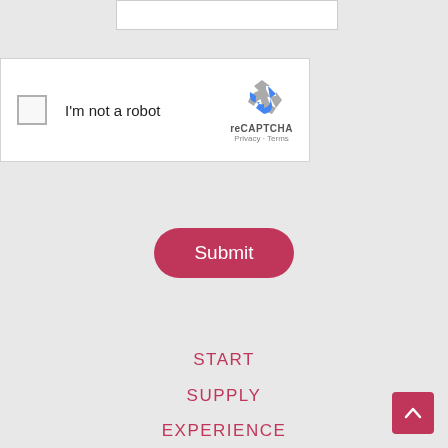[Figure (screenshot): reCAPTCHA widget with checkbox labeled 'I'm not a robot', reCAPTCHA logo and branding with Privacy and Terms links]
[Figure (other): Submit button — red rounded pill-shaped button with white text 'Submit']
START
SUPPLY
EXPERIENCE
[Figure (other): Back-to-top button — red square with upward chevron arrow icon, bottom-right corner]